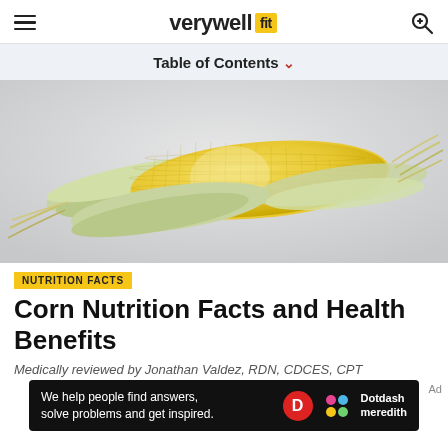verywell fit
Table of Contents ▾
[Figure (photo): Two ears of corn partially husked, lying on a light grey surface]
NUTRITION FACTS
Corn Nutrition Facts and Health Benefits
Medically reviewed by Jonathan Valdez, RDN, CDCES, CPT
We help people find answers, solve problems and get inspired. Dotdash meredith